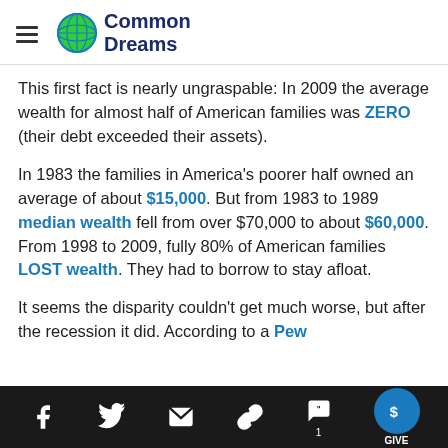Common Dreams
This first fact is nearly ungraspable: In 2009 the average wealth for almost half of American families was ZERO (their debt exceeded their assets).
In 1983 the families in America's poorer half owned an average of about $15,000. But from 1983 to 1989 median wealth fell from over $70,000 to about $60,000. From 1998 to 2009, fully 80% of American families LOST wealth. They had to borrow to stay afloat.
It seems the disparity couldn't get much worse, but after the recession it did. According to a Pew
Social share icons and GIVE button